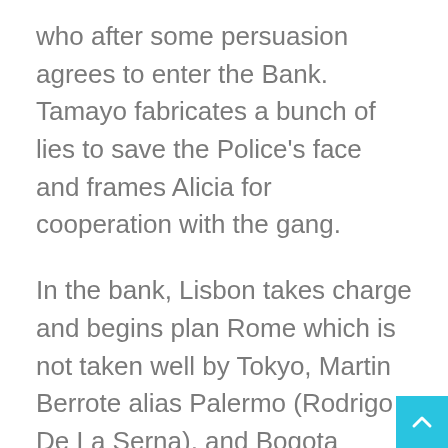who after some persuasion agrees to enter the Bank. Tamayo fabricates a bunch of lies to save the Police's face and frames Alicia for cooperation with the gang.
In the bank, Lisbon takes charge and begins plan Rome which is not taken well by Tokyo, Martin Berrote alias Palermo (Rodrigo De La Serna), and Bogota (Hovik Keuchkerian).
Meanwhile, Monica Gaztambide (Esther Acebo) alias Stockholm, Denver's wife, has an argument with Manila and Denver because Manila's identity has been revealed to the hostages. This compromises their